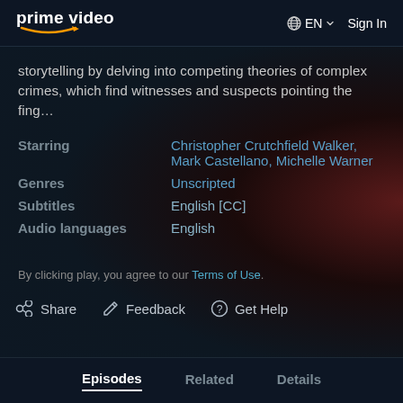prime video   EN   Sign In
storytelling by delving into competing theories of complex crimes, which find witnesses and suspects pointing the fing...
Starring  Christopher Crutchfield Walker, Mark Castellano, Michelle Warner
Genres  Unscripted
Subtitles  English [CC]
Audio languages  English
By clicking play, you agree to our Terms of Use.
Share   Feedback   Get Help
Episodes   Related   Details